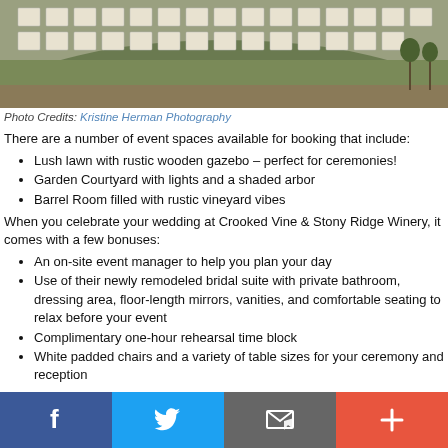[Figure (photo): Outdoor wedding venue with white chairs arranged in rows on a grassy lawn with a hill in the background]
Photo Credits: Kristine Herman Photography
There are a number of event spaces available for booking that include:
Lush lawn with rustic wooden gazebo – perfect for ceremonies!
Garden Courtyard with lights and a shaded arbor
Barrel Room filled with rustic vineyard vibes
When you celebrate your wedding at Crooked Vine & Stony Ridge Winery, it comes with a few bonuses:
An on-site event manager to help you plan your day
Use of their newly remodeled bridal suite with private bathroom, dressing area, floor-length mirrors, vanities, and comfortable seating to relax before your event
Complimentary one-hour rehearsal time block
White padded chairs and a variety of table sizes for your ceremony and reception
Social share bar: Facebook, Twitter, Email, Add